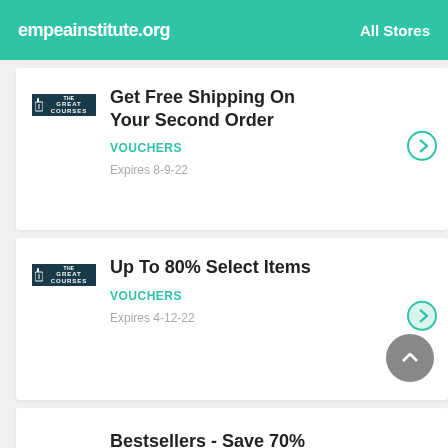empeainstitute.org   All Stores
Get Free Shipping On Your Second Order
VOUCHERS
Expires 8-9-22
Up To 80% Select Items
VOUCHERS
Expires 4-12-22
Bestsellers - Save 70% Or More